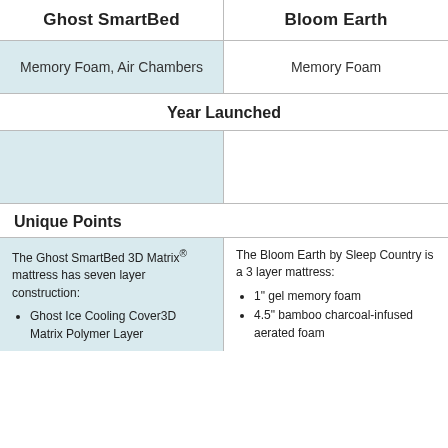Ghost SmartBed
Bloom Earth
Memory Foam, Air Chambers
Memory Foam
Year Launched
Unique Points
The Ghost SmartBed 3D Matrix® mattress has seven layer construction:
Ghost Ice Cooling Cover3D Matrix Polymer Layer
The Bloom Earth by Sleep Country is a 3 layer mattress:
1" gel memory foam
4.5" bamboo charcoal-infused aerated foam